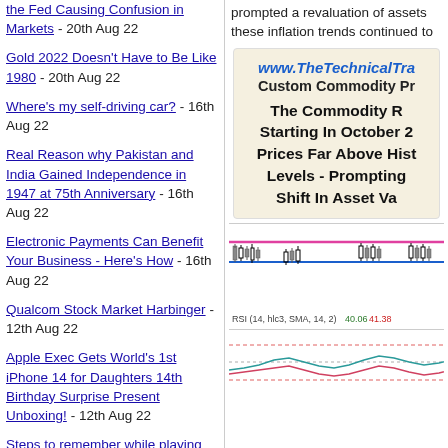prompted a revaluation of assets these inflation trends continued to
the Fed Causing Confusion in Markets - 20th Aug 22
Gold 2022 Doesn't Have to Be Like 1980 - 20th Aug 22
Where's my self-driving car? - 16th Aug 22
Real Reason why Pakistan and India Gained Independence in 1947 at 75th Anniversary - 16th Aug 22
Electronic Payments Can Benefit Your Business - Here's How - 16th Aug 22
Qualcom Stock Market Harbinger - 12th Aug 22
Apple Exec Gets World's 1st iPhone 14 for Daughters 14th Birthday Surprise Present Unboxing! - 12th Aug 22
Steps to remember while playing live roulette online - 12th Aug 22
China Bank Run Protests - Another Potential
[Figure (screenshot): Advertisement block for www.TheTechnicalTrader.com - Custom Commodity Prices. Text reads: The Commodity R... Starting In October 2... Prices Far Above Hist... Levels - Prompting... Shift In Asset Va... with a candlestick chart below showing RSI (14, hlc3, SMA, 14, 2) 40.06 41.38 and oscillator below.]